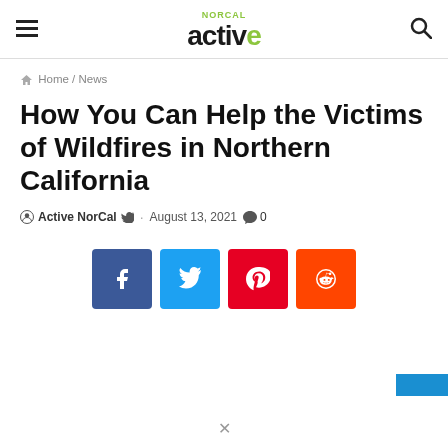active NORCAL
Home / News
How You Can Help the Victims of Wildfires in Northern California
Active NorCal · August 13, 2021  0
[Figure (other): Social share buttons for Facebook, Twitter, Pinterest, and Reddit]